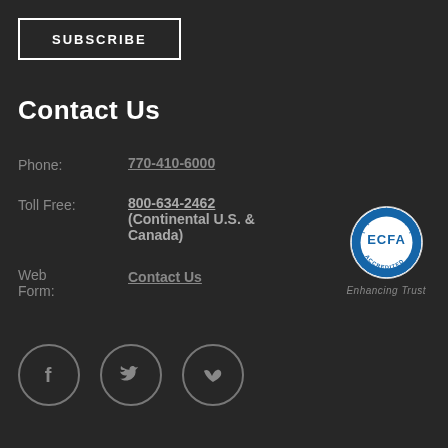SUBSCRIBE
Contact Us
Phone: 770-410-6000
Toll Free: 800-634-2462 (Continental U.S. & Canada)
Web Form: Contact Us
[Figure (logo): ECFA Accredited seal with text Enhancing Trust]
[Figure (infographic): Social media icons: Facebook, Twitter, Vimeo]